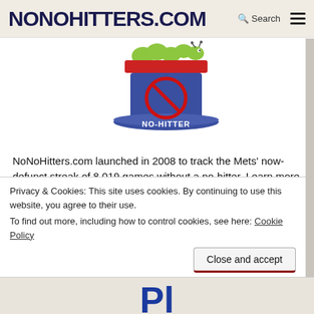NONOHITTERS.COM
[Figure (logo): NoNoHitters.com logo: a blue top hat with a red no-symbol and 'NO-HITTER' text, with a green caterpillar on top and red hat band]
NoNoHitters.com launched in 2008 to track the Mets' now-defunct streak of 8,019 games without a no-hitter. Learn more on our The original NoNoHitters.com page.
Links to other rare feats
Privacy & Cookies: This site uses cookies. By continuing to use this website, you agree to their use.
To find out more, including how to control cookies, see here: Cookie Policy
Close and accept